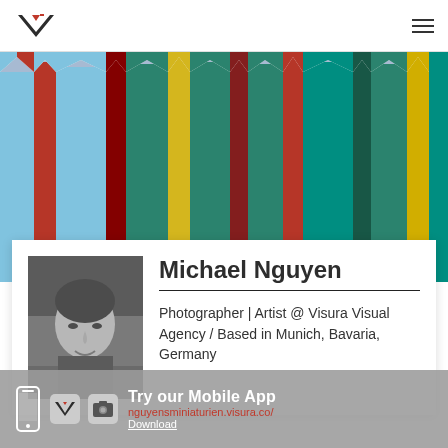Visura logo and navigation
[Figure (photo): Colorful vertical stripes/panels on a building facade — blue, red, green, yellow, teal, dark red alternating columns]
[Figure (photo): Black and white portrait photo of Michael Nguyen, a middle-aged man]
Michael Nguyen
Photographer | Artist @ Visura Visual Agency / Based in Munich, Bavaria, Germany
Try our Mobile App
nguyensminiaturien.visura.co/
Download